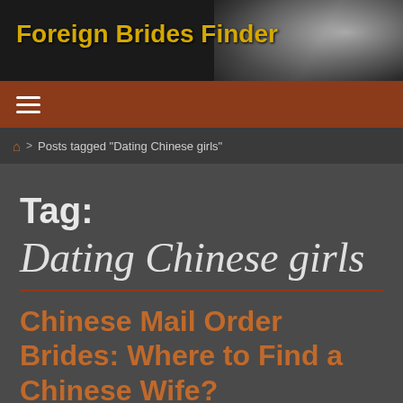Foreign Brides Finder
≡ (hamburger menu)
Posts tagged "Dating Chinese girls"
Tag:
Dating Chinese girls
Chinese Mail Order Brides: Where to Find a Chinese Wife?